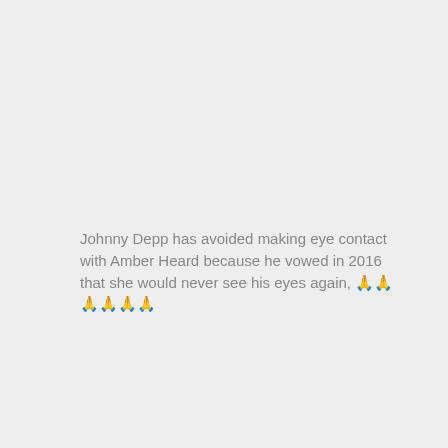Johnny Depp has avoided making eye contact with Amber Heard because he vowed in 2016 that she would never see his eyes again, 🙏🙏🙏🙏🙏🙏